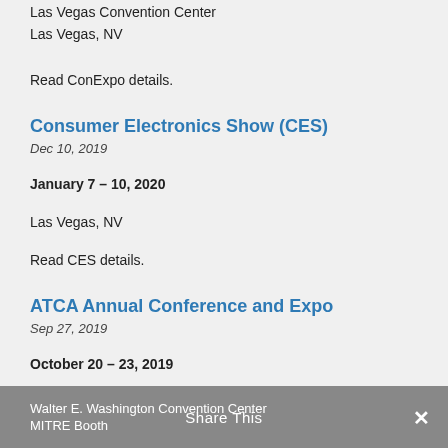Las Vegas Convention Center
Las Vegas, NV
Read ConExpo details.
Consumer Electronics Show (CES)
Dec 10, 2019
January 7 – 10, 2020
Las Vegas, NV
Read CES details.
ATCA Annual Conference and Expo
Sep 27, 2019
October 20 – 23, 2019
Walter E. Washington Convention Center
MITRE Booth
Share This